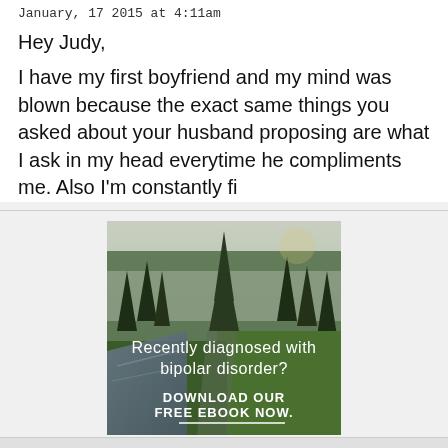January, 17 2015 at 4:11am
Hey Judy,
I have my first boyfriend and my mind was blown because the exact same things you asked about your husband proposing are what I ask in my head everytime he compliments me. Also I'm constantly fighting with her about giving myself a called...
[Figure (photo): Forest and river landscape advertisement for a free ebook about bipolar disorder. Text reads: 'Recently diagnosed with bipolar disorder? DOWNLOAD OUR FREE EBOOK NOW.' with a horizontal line beneath.]
advertisement